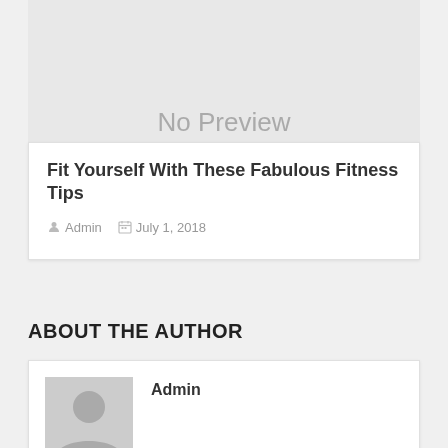[Figure (other): No Preview image placeholder with gray background and 'No Preview' text]
Fit Yourself With These Fabulous Fitness Tips
Admin  July 1, 2018
ABOUT THE AUTHOR
[Figure (photo): Generic user avatar placeholder with gray background showing a silhouette]
Admin